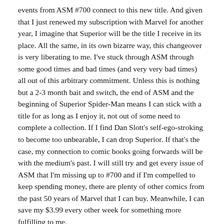events from ASM #700 connect to this new title. And given that I just renewed my subscription with Marvel for another year, I imagine that Superior will be the title I receive in its place. All the same, in its own bizarre way, this changeover is very liberating to me. I've stuck through ASM through some good times and bad times (and very very bad times) all out of this arbitrary commitment. Unless this is nothing but a 2-3 month bait and switch, the end of ASM and the beginning of Superior Spider-Man means I can stick with a title for as long as I enjoy it, not out of some need to complete a collection. If I find Dan Slott's self-ego-stroking to become too unbearable, I can drop Superior. If that's the case, my connection to comic books going forwards will be with the medium's past. I will still try and get every issue of ASM that I'm missing up to #700 and if I'm compelled to keep spending money, there are plenty of other comics from the past 50 years of Marvel that I can buy. Meanwhile, I can save my $3.99 every other week for something more fulfilling to me.
And what does this all mean to the site? Well, considering how little I've done with the site, I would be content to just delete...